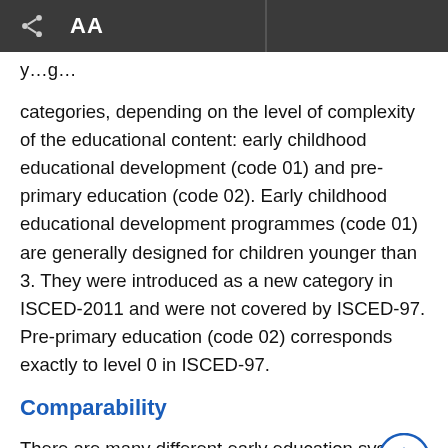AA
categories, depending on the level of complexity of the educational content: early childhood educational development (code 01) and pre-primary education (code 02). Early childhood educational development programmes (code 01) are generally designed for children younger than 3. They were introduced as a new category in ISCED-2011 and were not covered by ISCED-97. Pre-primary education (code 02) corresponds exactly to level 0 in ISCED-97.
Comparability
There are many different early education systems and structures within OECD countries. Consequently, there is also a range of different approaches to identifying the boundary between early childhood education and childcare. These differences should be taken into account...